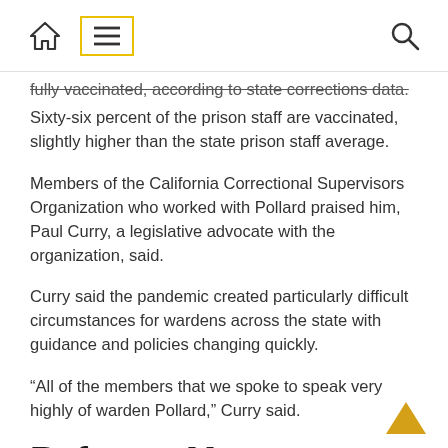[home icon] [menu icon] [search icon]
fully vaccinated, according to state corrections data. Sixty-six percent of the prison staff are vaccinated, slightly higher than the state prison staff average.
Members of the California Correctional Supervisors Organization who worked with Pollard praised him, Paul Curry, a legislative advocate with the organization, said.
Curry said the pandemic created particularly difficult circumstances for wardens across the state with guidance and policies changing quickly.
“All of the members that we spoke to speak very highly of warden Pollard,” Curry said.
Reforms Meet